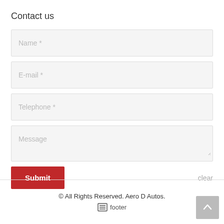Contact us
Name *
E-mail *
Telephone *
Message
Submit
clear
© All Rights Reserved. Aero D Autos.
footer